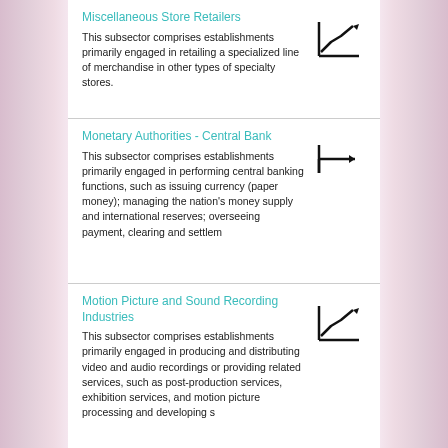Miscellaneous Store Retailers
This subsector comprises establishments primarily engaged in retailing a specialized line of merchandise in other types of specialty stores.
[Figure (other): Upward trending line chart icon with arrow]
Monetary Authorities - Central Bank
This subsector comprises establishments primarily engaged in performing central banking functions, such as issuing currency (paper money); managing the nation's money supply and international reserves; overseeing payment, clearing and settlem
[Figure (other): Flat/sideways arrow icon indicating stable trend]
Motion Picture and Sound Recording Industries
This subsector comprises establishments primarily engaged in producing and distributing video and audio recordings or providing related services, such as post-production services, exhibition services, and motion picture processing and developing s
[Figure (other): Upward trending line chart icon with arrow]
Motor Vehicle and Motor Vehicle Parts and Accessories Merchant Wholesalers